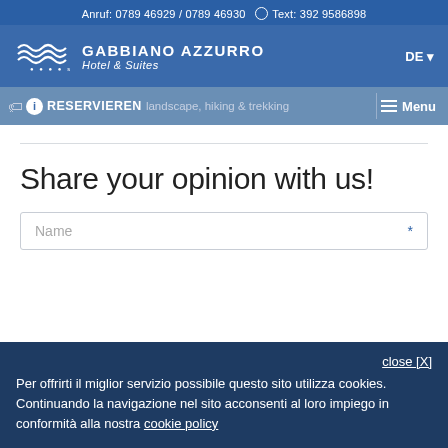Anruf: 0789 46929 / 0789 46930   Text: 392 9586898
[Figure (logo): Gabbiano Azzurro Hotel & Suites logo with wave graphic and stars]
DE
RESERVIEREN   landscape, hiking & trekking   Menu
Share your opinion with us!
Name *
close [X]
Per offrirti il miglior servizio possibile questo sito utilizza cookies.
Continuando la navigazione nel sito acconsenti al loro impiego in conformità alla nostra cookie policy